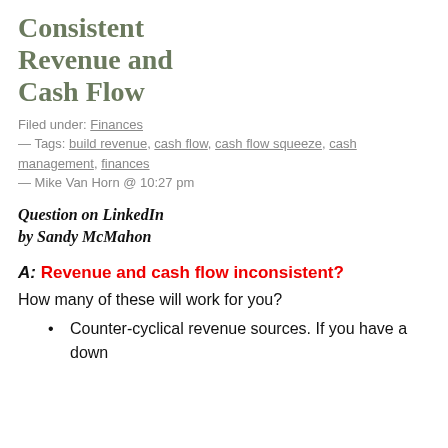Consistent Revenue and Cash Flow
Filed under: Finances — Tags: build revenue, cash flow, cash flow squeeze, cash management, finances — Mike Van Horn @ 10:27 pm
Question on LinkedIn
by Sandy McMahon
A: Revenue and cash flow inconsistent?
How many of these will work for you?
Counter-cyclical revenue sources. If you have a down